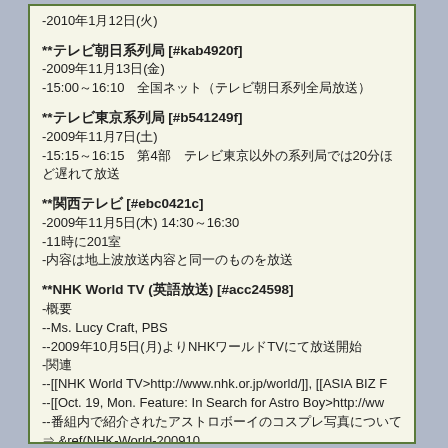-2010年1月12日(火)
**テレビ朝日系列局 [#kab4920f]
-2009年11月13日(金)
-15:00～16:10　全国ネット（テレビ朝日系列全局放送）
**テレビ東京系列局 [#b541249f]
-2009年11月7日(土)
-15:15～16:15　第4部　テレビ東京以外の系列局では20分ほど遅れて放送
**関西テレビ [#ebc0421c]
-2009年11月5日(木) 14:30～16:30
-11時に201室
-内容は地上波放送内容と同一のものを放送
**NHK World TV (英語放送) [#acc24598]
-概要
--Ms. Lucy Craft, PBS
--2009年10月5日(月)よりNHKワールドTVにて放送開始
-関連
--[[NHK World TV>http://www.nhk.or.jp/world/]], [[ASIA BIZ F
--[[Oct. 19, Mon. Feature: In Search for Astro Boy>http://ww
--番組内で紹介されたアストロボーイのコスプレ写真について ⇒ &ref(NHK-World-200910
**[[アストロボーイ・鉄腕アトム公式サイト>http://...